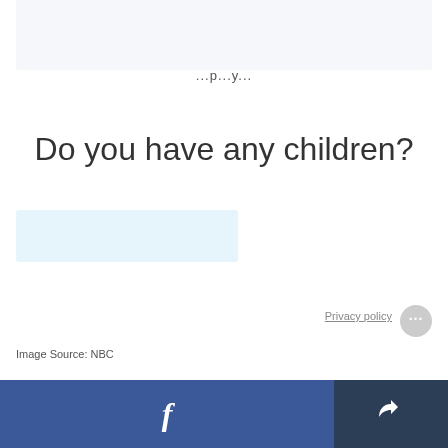[Figure (screenshot): Top portion of an image cropped off, light blue-grey background area]
...p...y...
Do you have any children?
[Figure (other): Light blue answer/input box on left side]
Privacy policy
Image Source: NBC
[Figure (other): Facebook share button bar (blue) and share icon bar (dark navy) at bottom of page]